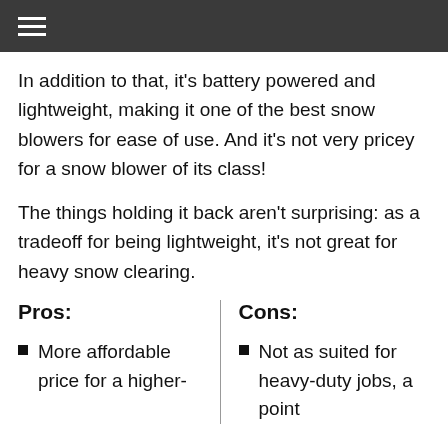≡
In addition to that, it's battery powered and lightweight, making it one of the best snow blowers for ease of use. And it's not very pricey for a snow blower of its class!
The things holding it back aren't surprising: as a tradeoff for being lightweight, it's not great for heavy snow clearing.
Pros:
Cons:
More affordable price for a higher-
Not as suited for heavy-duty jobs, a point